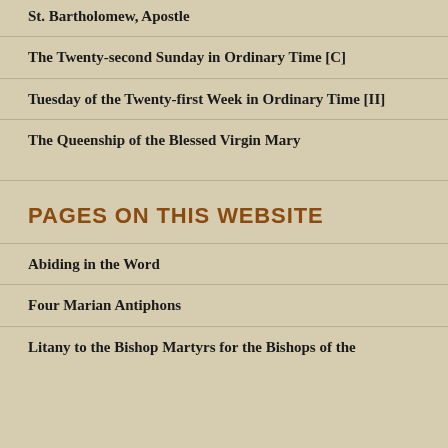St. Bartholomew, Apostle
The Twenty-second Sunday in Ordinary Time [C]
Tuesday of the Twenty-first Week in Ordinary Time [II]
The Queenship of the Blessed Virgin Mary
PAGES ON THIS WEBSITE
Abiding in the Word
Four Marian Antiphons
Litany to the Bishop Martyrs for the Bishops of the